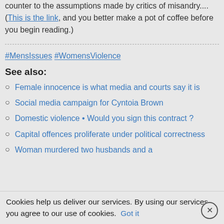counter to the assumptions made by critics of misandry....(This is the link, and you better make a pot of coffee before you begin reading.)
#MensIssues #WomensViolence
See also:
Female innocence is what media and courts say it is
Social media campaign for Cyntoia Brown
Domestic violence • Would you sign this contract ?
Capital offences proliferate under political correctness
Woman murdered two husbands and a
Cookies help us deliver our services. By using our services, you agree to our use of cookies. Got it